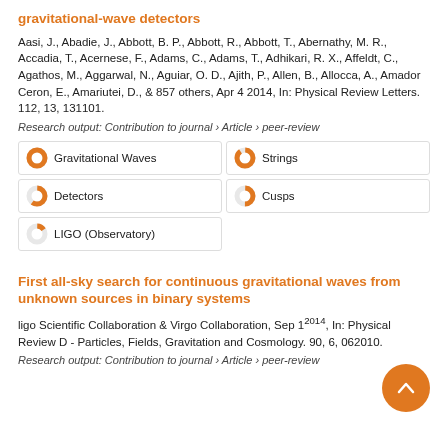gravitational-wave detectors
Aasi, J., Abadie, J., Abbott, B. P., Abbott, R., Abbott, T., Abernathy, M. R., Accadia, T., Acernese, F., Adams, C., Adams, T., Adhikari, R. X., Affeldt, C., Agathos, M., Aggarwal, N., Aguiar, O. D., Ajith, P., Allen, B., Allocca, A., Amador Ceron, E., Amariutei, D., & 857 others, Apr 4 2014, In: Physical Review Letters. 112, 13, 131101.
Research output: Contribution to journal › Article › peer-review
[Figure (infographic): Keyword badges: Gravitational Waves (100%), Strings (90%), Detectors (60%), Cusps (50%), LIGO (Observatory) (15%)]
First all-sky search for continuous gravitational waves from unknown sources in binary systems
ligo Scientific Collaboration & Virgo Collaboration, Sep 1 2014, In: Physical Review D - Particles, Fields, Gravitation and Cosmology. 90, 6, 062010.
Research output: Contribution to journal › Article › peer-review